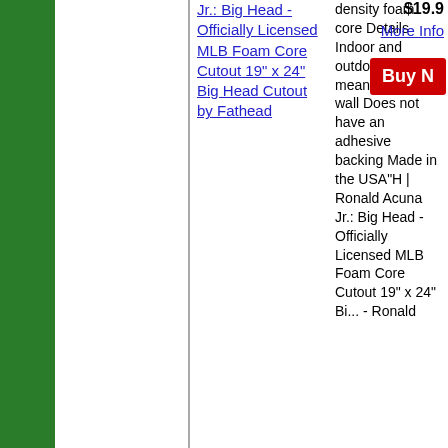Jr.: Big Head - Officially Licensed MLB Foam Core Cutout 19" x 24" Big Head Cutout by Fathead
density foam core Details Indoor and outdoor use Not meant for your wall Does not have an adhesive backing Made in the USA"H | Ronald Acuna Jr.: Big Head - Officially Licensed MLB Foam Core Cutout 19" x 24" Bi... - Ronald
$19.9
More Info
Buy N